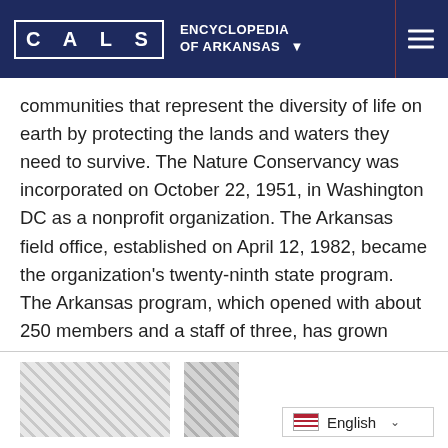CALS ENCYCLOPEDIA OF ARKANSAS
communities that represent the diversity of life on earth by protecting the lands and waters they need to survive. The Nature Conservancy was incorporated on October 22, 1951, in Washington DC as a nonprofit organization. The Arkansas field office, established on April 12, 1982, became the organization's twenty-ninth state program. The Arkansas program, which opened with about 250 members and a staff of three, has grown steadily in capacity and achievement. The conservancy now has about 6,000 members in Arkansas (the worldwide membership is about one million) and a staff of more …
[Figure (photo): Two partial thumbnail images at the bottom of the page, partially visible]